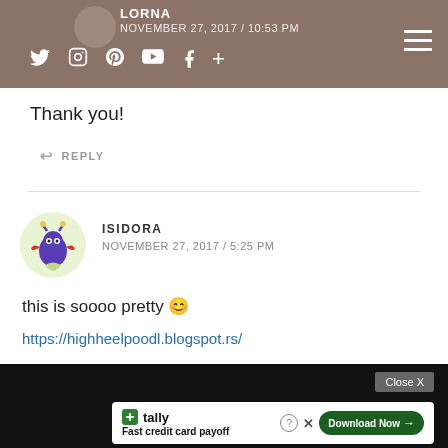LORNA / NOVEMBER 27, 2017 / 10:53 PM
Thank you!
↩ REPLY
ISIDORA
NOVEMBER 27, 2017 / 5:25 PM
this is soooo pretty 😊
https://highheelpoodl.blogspot.rs/
[Figure (screenshot): Dark video/media area with Close X button and Tally advertisement banner showing 'Fast credit card payoff' with Download Now button]